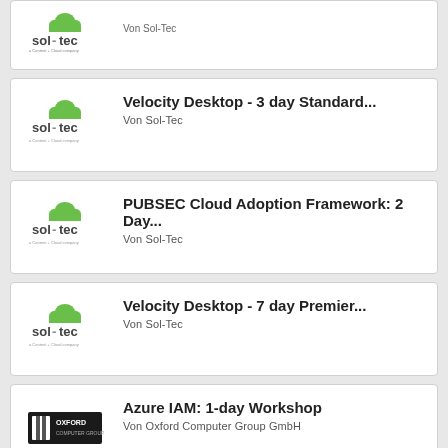[Figure (logo): Sol-Tec logo - partial card at top]
Von Sol-Tec
Velocity Desktop - 3 day Standard...
Von Sol-Tec
PUBSEC Cloud Adoption Framework: 2 Day...
Von Sol-Tec
Velocity Desktop - 7 day Premier...
Von Sol-Tec
Azure IAM: 1-day Workshop
Von Oxford Computer Group GmbH